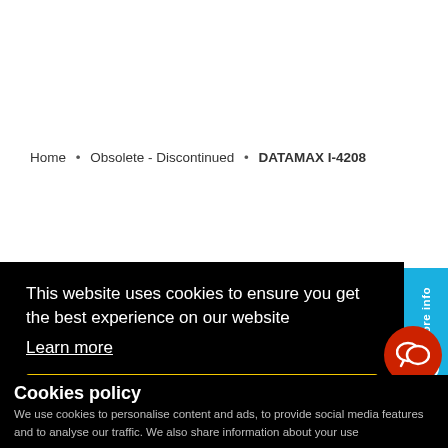Home • Obsolete - Discontinued • DATAMAX I-4208
This website uses cookies to ensure you get the best experience on our website Learn more
Got it!
More info
Cookies policy
We use cookies to personalise content and ads, to provide social media features and to analyse our traffic. We also share information about your use